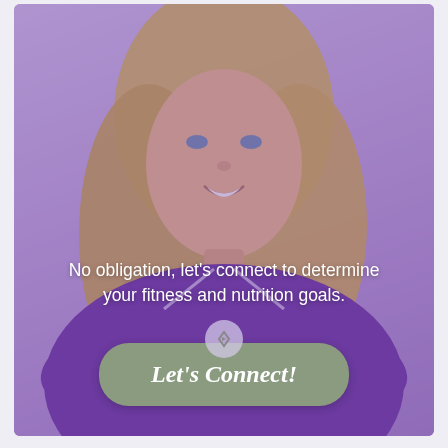[Figure (photo): A smiling middle-aged blonde woman wearing a purple long-sleeve V-neck top, standing against a light purple background with a purple color overlay on the photo.]
No obligation, let's connect to determine your fitness and nutrition goals.
Let's Connect!